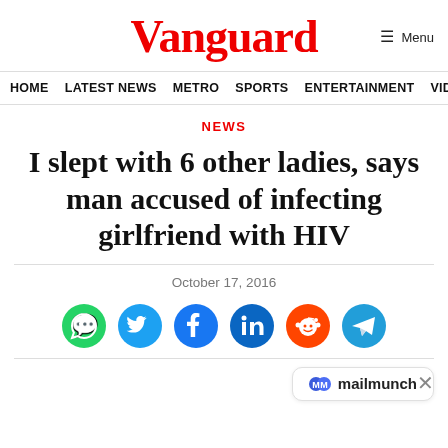Vanguard
HOME  LATEST NEWS  METRO  SPORTS  ENTERTAINMENT  VIDEOS
NEWS
I slept with 6 other ladies, says man accused of infecting girlfriend with HIV
October 17, 2016
[Figure (infographic): Social sharing icons: WhatsApp (green), Twitter (blue), Facebook (dark blue), LinkedIn (teal), Reddit (orange), Telegram (blue)]
[Figure (logo): Mailmunch logo badge with M icon]